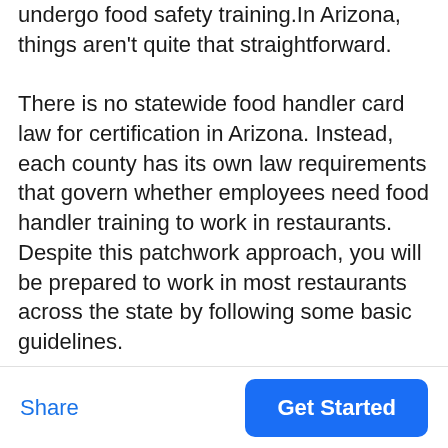undergo food safety training.In Arizona, things aren't quite that straightforward.
There is no statewide food handler card law for certification in Arizona. Instead, each county has its own law requirements that govern whether employees need food handler training to work in restaurants. Despite this patchwork approach, you will be prepared to work in most restaurants across the state by following some basic guidelines.
Share  Get Started